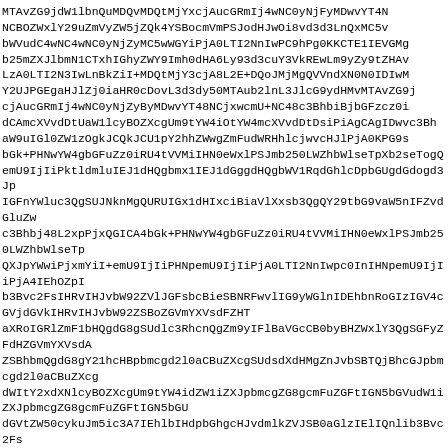MTAvZG9jdW1lbnQuMDQvMDQtMjYxcjAucGRmIj4wNC0yNjFyMDwvYT4NNCBOZWxlY29uZmVyZW5jZQk4YSBocmVmPSJodHJwOi8vd3d3LnQxMC5vaWd2d3d3LnQxMC5vaWd2d3d3LnQxMC5vaWd2ZGJXVudC4wNC4wNC0yNjZyMC5wWGYiPjA0LTI2NnIwPC9hPg0KY25Q...IGZnYWluc3QgSUJNknMgQURUIGx1dHIxciBiaYWxsb3QgQY29tbG9vaW5nIFZvdGludCAuLi4K...